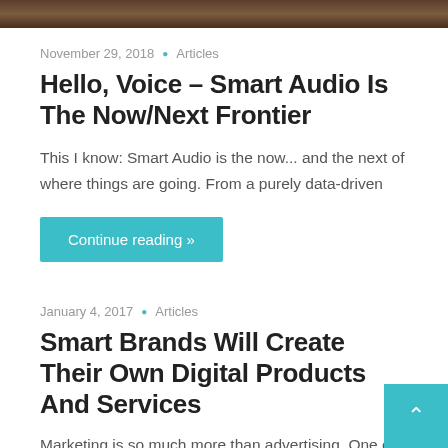[Figure (photo): Top portion of a hero image showing a dark wooden surface]
November 29, 2018  •  Articles
Hello, Voice – Smart Audio Is The Now/Next Frontier
This I know: Smart Audio is the now... and the next of where things are going. From a purely data-driven
Continue reading »
January 4, 2017  •  Articles
Smart Brands Will Create Their Own Digital Products And Services
Marketing is so much more than advertising. One of